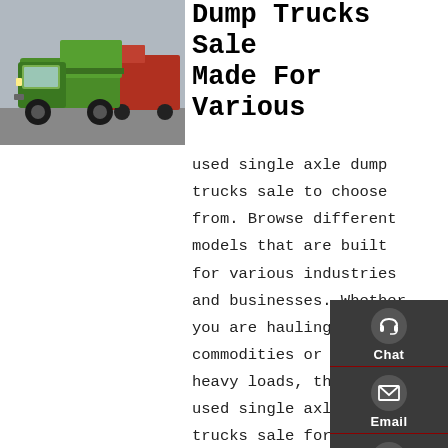[Figure (photo): Green dump truck parked on pavement, front-left view, with red dump trucks visible in background.]
Dump Trucks Sale Made For Various
used single axle dump trucks sale to choose from. Browse different models that are built for various industries and businesses. Whether you are hauling commodities or dumping heavy loads, there are used single axle dump trucks sale for your needs. Search various suppliers to find